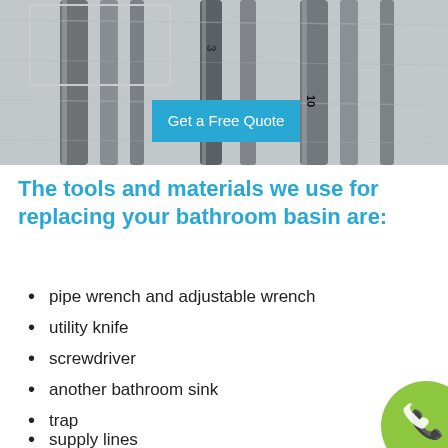[Figure (photo): Photo of plumbing tools (wrenches and screwdrivers) on a wooden surface, with a cyan 'Get a Free Quote' button overlaid]
The tools and materials we use for replacing your bathroom basin are:
pipe wrench and adjustable wrench
utility knife
screwdriver
another bathroom sink
trap
supply lines
plumber's tape
[Figure (illustration): Green circular phone/call badge in bottom right corner]